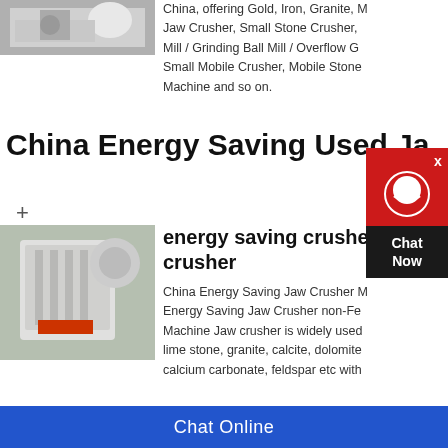[Figure (photo): Industrial crusher machine, white/grey colored heavy equipment]
China, offering Gold, Iron, Granite, Jaw Crusher, Small Stone Crusher, Mill / Grinding Ball Mill / Overflow G..., Small Mobile Crusher, Mobile Stone... Machine and so on.
China Energy Saving Used Jaw...
+
[Figure (photo): Jaw crusher machine with orange/red accent, photographed against rocky background]
energy saving crusher machine jaw crusher
China Energy Saving Jaw Crusher... Energy Saving Jaw Crusher non-Fe... Machine Jaw crusher is widely used... lime stone, granite, calcite, dolomite... calcium carbonate, feldspar etc with...
Chat Online